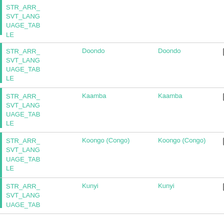| Name | Value 1 | Value 2 | Actions |
| --- | --- | --- | --- |
| STR_ARR_SVT_LANGUAGE_TABLE |  |  |  |
| STR_ARR_SVT_LANGUAGE_TABLE | Doondo | Doondo | copy/edit |
| STR_ARR_SVT_LANGUAGE_TABLE | Kaamba | Kaamba | copy/edit |
| STR_ARR_SVT_LANGUAGE_TABLE | Koongo (Congo) | Koongo (Congo) | copy/edit |
| STR_ARR_SVT_LANGUAGE_TABLE | Kunyi | Kunyi | copy/edit |